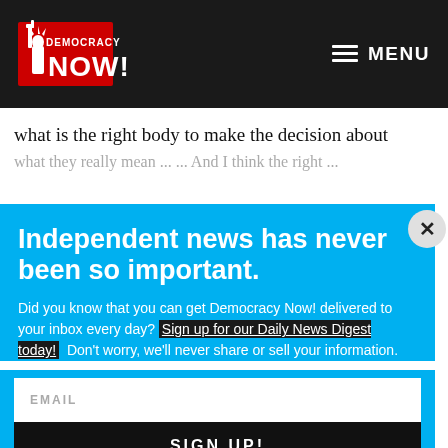Democracy Now! — MENU
what is the right body to make the decision about
Independent news has never been so important.
Did you know that you can get Democracy Now! delivered to your inbox every day? Sign up for our Daily News Digest today! Don't worry, we'll never share or sell your information.
EMAIL
SIGN UP!